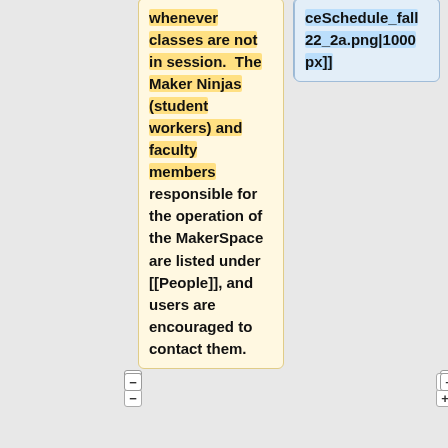whenever classes are not in session. The Maker Ninjas (student workers) and faculty members responsible for the operation of the MakerSpace are listed under [[People]], and users are encouraged to contact them.
ceSchedule_fall 22_2a.png|1000 px]]
Users with special need to access the Maker Space
Please re-check this page often for updated schedules and